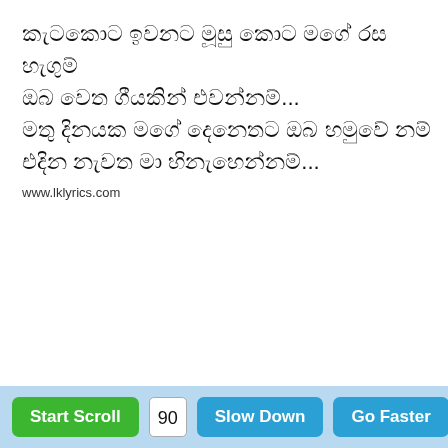කැට‌කොට ඉවනට මූසු කොට මගේ රස හැගුම් ඔබ වෙත ගීයකින් එවන්නම්... මතු දිනයක මගේ දෙනෙතට ඔබ හමුවේ නම් එදින නැවත මා හිනැහෙන්නම්...
www.lklyrics.com